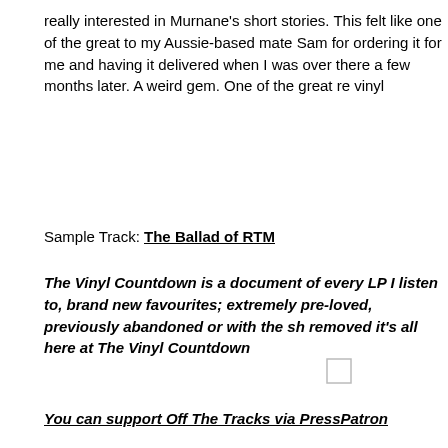really interested in Murnane's short stories. This felt like one of the great to my Aussie-based mate Sam for ordering it for me and having it delivered when I was over there a few months later. A weird gem. One of the great re vinyl
Sample Track: The Ballad of RTM
The Vinyl Countdown is a document of every LP I listen to, brand new favourites; extremely pre-loved, previously abandoned or with the sh removed it's all here at The Vinyl Countdown
[Figure (other): Small checkbox/square icon]
You can support Off The Tracks via PressPatron